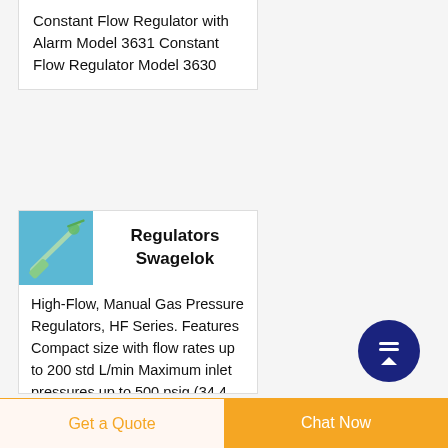Constant Flow Regulator with Alarm Model 3631 Constant Flow Regulator Model 3630
Regulators Swagelok
High-Flow, Manual Gas Pressure Regulators, HF Series. Features Compact size with flow rates up to 200 std L/min Maximum inlet pressures up to 500 psig (34.4 bar) Manually adjustable outlet pressure up to 150 psig (10.3 bar) 316L VIM-VAR stainless steel body for ultrahigh-purity
[Figure (photo): Small thumbnail photo showing a green needle/regulator fitting on a blue background]
[Figure (other): Dark navy blue circular button with upward-pointing arrow icon]
Get a Quote
Chat Now